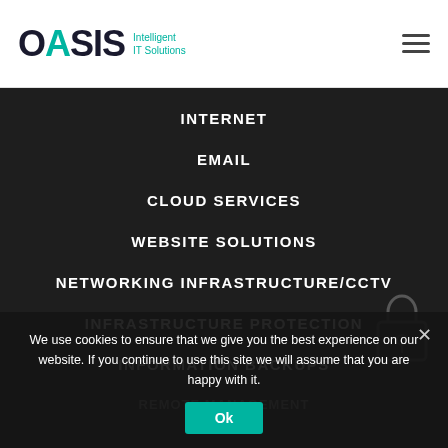[Figure (logo): OASIS Intelligent IT Solutions logo with teal dot in the letter A and teal tagline text]
INTERNET
EMAIL
CLOUD SERVICES
WEBSITE SOLUTIONS
NETWORKING INFRASTRUCTURE/CCTV
INFRASTRUCTURE PROTECTION
INFORMATION BACKUPS
REMOTE MANAGEMENT
We use cookies to ensure that we give you the best experience on our website. If you continue to use this site we will assume that you are happy with it.